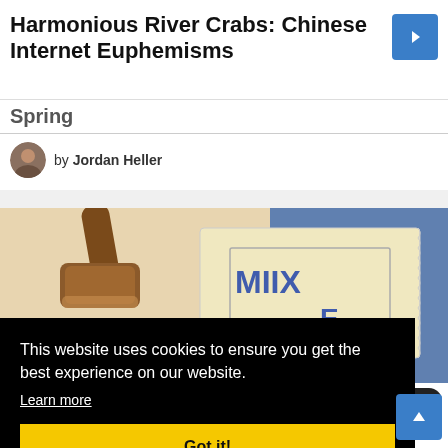Harmonious River Crabs: Chinese Internet Euphemisms
Spring
by Jordan Heller
[Figure (photo): Article hero image showing a wooden gavel next to a ticket stub with partial text visible, blue background elements]
This website uses cookies to ensure you get the best experience on our website.
Learn more
Got it!
↑↓ 89
Why Speak Chinese 2022. Meet